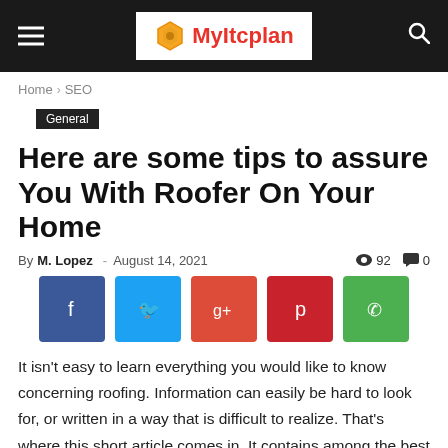MyItcplan
Home › SEO
General
Here are some tips to assure You With Roofer On Your Home
By M. Lopez - August 14, 2021  92  0
[Figure (other): Social media share buttons: Facebook, Twitter, Google+, Pinterest, WhatsApp]
It isn't easy to learn everything you would like to know concerning roofing. Information can easily be hard to look for, or written in a way that is difficult to realize. That's where this short article comes in. It contains among the best roof covering advice available, in addition to the tips in should be really easy to